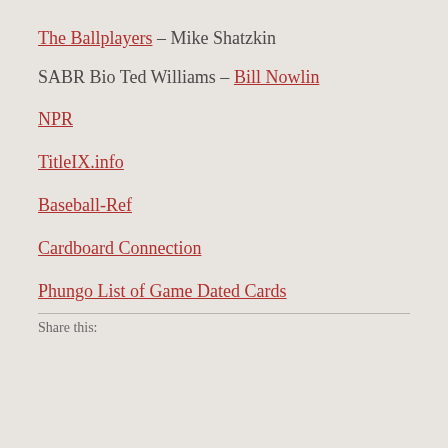The Ballplayers – Mike Shatzkin
SABR Bio Ted Williams – Bill Nowlin
NPR
TitleIX.info
Baseball-Ref
Cardboard Connection
Phungo List of Game Dated Cards
Share this: